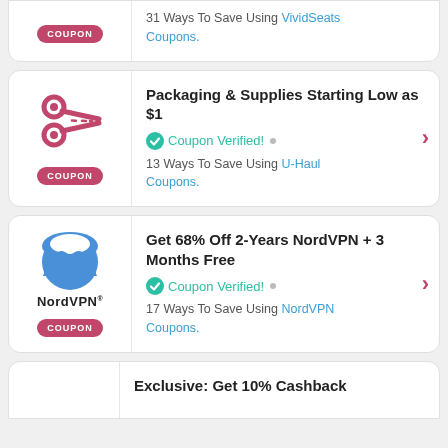31 Ways To Save Using VividSeats Coupons.
Packaging & Supplies Starting Low as $1
Coupon Verified!
13 Ways To Save Using U-Haul Coupons.
Get 68% Off 2-Years NordVPN + 3 Months Free
Coupon Verified!
17 Ways To Save Using NordVPN Coupons.
Exclusive: Get 10% Cashback